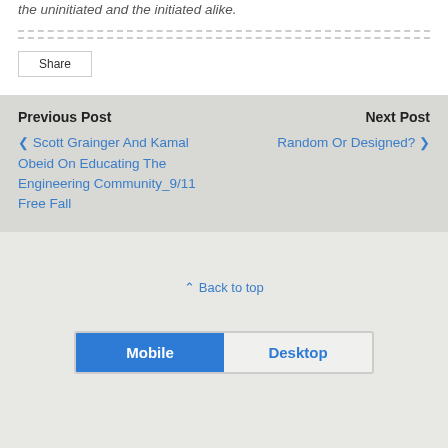the uninitiated and the initiated alike.
Share
Previous Post
Next Post
‹ Scott Grainger And Kamal Obeid On Educating The Engineering Community_9/11 Free Fall
Random Or Designed? ›
⇑ Back to top
Mobile  Desktop